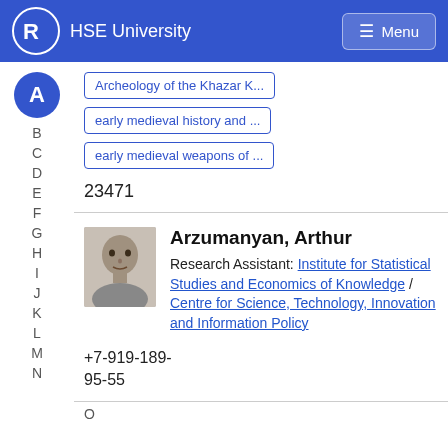HSE University  Menu
Archeology of the Khazar K...
early medieval history and ...
early medieval weapons of ...
23471
Arzumanyan, Arthur
Research Assistant: Institute for Statistical Studies and Economics of Knowledge / Centre for Science, Technology, Innovation and Information Policy
+7-919-189-95-55